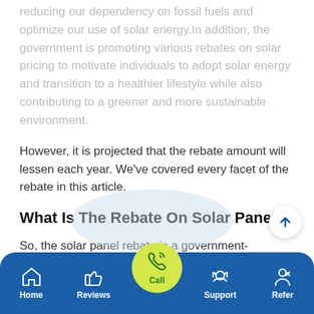reducing our dependency on fossil fuels and optimize our use of solar energy.In addition, the government is promoting various rebates on solar pricing to motivate individuals to adopt solar energy and transition to a healthier lifestyle while also contributing to a greener and more sustainable environment.
However, it is projected that the rebate amount will lessen each year. We've covered every facet of the rebate in this article.
What Is The Rebate On Solar Panels?
So, the solar panel rebate is a government-sponsored financial incentive to encourage households to shift to solar energy. This exists in a